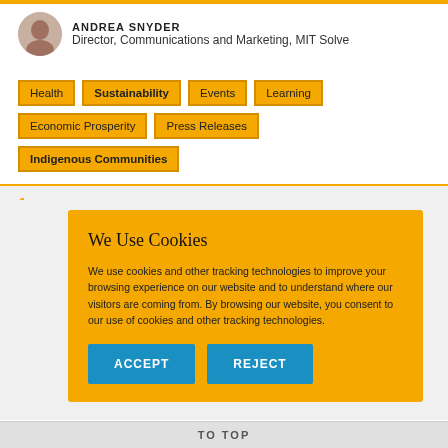ANDREA SNYDER
Director, Communications and Marketing, MIT Solve
Health
Sustainability
Events
Learning
Economic Prosperity
Press Releases
Indigenous Communities
We Use Cookies
We use cookies and other tracking technologies to improve your browsing experience on our website and to understand where our visitors are coming from. By browsing our website, you consent to our use of cookies and other tracking technologies.
ACCEPT
REJECT
TO TOP